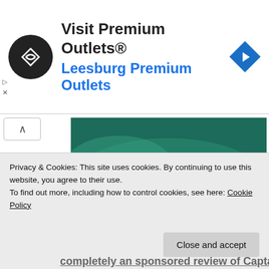[Figure (other): Advertisement banner for Visit Premium Outlets - Leesburg Premium Outlets with circular logo and navigation diamond icon]
[Figure (photo): Person swimming or floating in turquoise water, wearing colorful clothing, seen from above]
Once back on board, we ate a great meal and watched the sun sink down from the Thailand sky into the waters that we had been enjoying the entire afternoon. From the unlimited booze and beer to
Privacy & Cookies: This site uses cookies. By continuing to use this website, you agree to their use.
To find out more, including how to control cookies, see here: Cookie Policy
Close and accept
completely an sponsored review of Captain